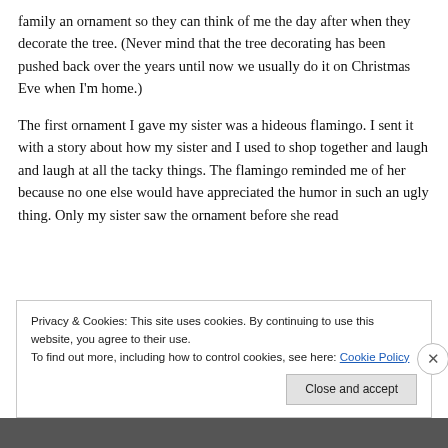family an ornament so they can think of me the day after when they decorate the tree. (Never mind that the tree decorating has been pushed back over the years until now we usually do it on Christmas Eve when I'm home.)
The first ornament I gave my sister was a hideous flamingo. I sent it with a story about how my sister and I used to shop together and laugh and laugh at all the tacky things. The flamingo reminded me of her because no one else would have appreciated the humor in such an ugly thing. Only my sister saw the ornament before she read
Privacy & Cookies: This site uses cookies. By continuing to use this website, you agree to their use.
To find out more, including how to control cookies, see here: Cookie Policy
Close and accept